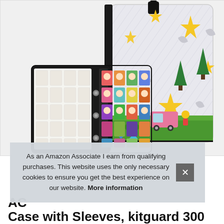[Figure (photo): Product photo showing an Animal Crossing card binder/case with Christmas tree and star pattern on the cover, open to display colorful character cards inside, with a black wrist strap.]
As an Amazon Associate I earn from qualifying purchases. This website uses the only necessary cookies to ensure you get the best experience on our website. More information
AC
Case with Sleeves, kitguard 300